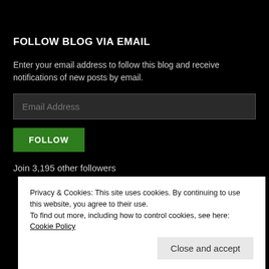FOLLOW BLOG VIA EMAIL
Enter your email address to follow this blog and receive notifications of new posts by email.
Email Address
FOLLOW
Join 3,195 other followers
Privacy & Cookies: This site uses cookies. By continuing to use this website, you agree to their use. To find out more, including how to control cookies, see here: Cookie Policy
Close and accept